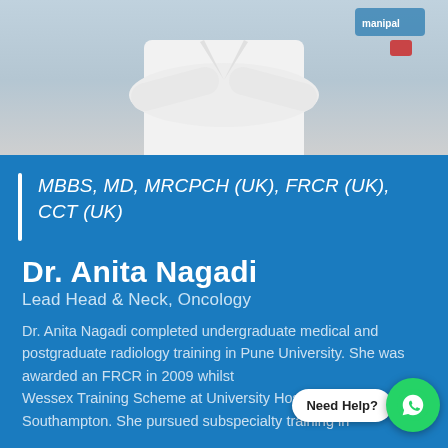[Figure (photo): Doctor in white coat with arms crossed, Manipal Hospitals logo visible on coat]
MBBS, MD, MRCPCH (UK), FRCR (UK), CCT (UK)
Dr. Anita Nagadi
Lead Head & Neck, Oncology
Dr. Anita Nagadi completed undergraduate medical and postgraduate radiology training in Pune University. She was awarded an FRCR in 2009 whilst doing the Wessex Training Scheme at University Hospitals Southampton. She pursued subspecialty training in